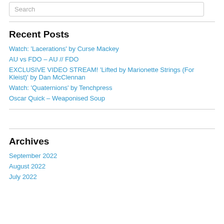Search
Recent Posts
Watch: 'Lacerations' by Curse Mackey
AU vs FDO – AU // FDO
EXCLUSIVE VIDEO STREAM! 'Lifted by Marionette Strings (For Kleist)' by Dan McClennan
Watch: 'Quaternions' by Tenchpress
Oscar Quick – Weaponised Soup
Archives
September 2022
August 2022
July 2022